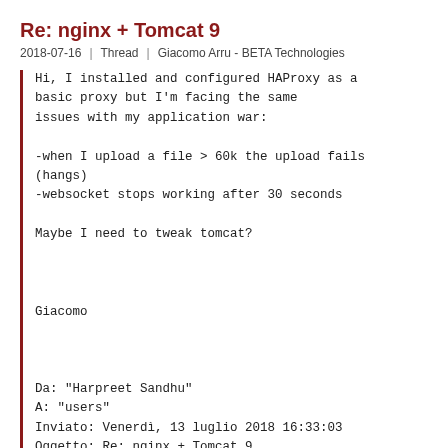Re: nginx + Tomcat 9
2018-07-16  |  Thread  |  Giacomo Arru - BETA Technologies
Hi, I installed and configured HAProxy as a basic proxy but I'm facing the same issues with my application war:

-when I upload a file > 60k the upload fails (hangs)
-websocket stops working after 30 seconds

Maybe I need to tweak tomcat?



Giacomo



Da: "Harpreet Sandhu"
A: "users"
Inviato: Venerdì, 13 luglio 2018 16:33:03
Oggetto: Re: nginx + Tomcat 9